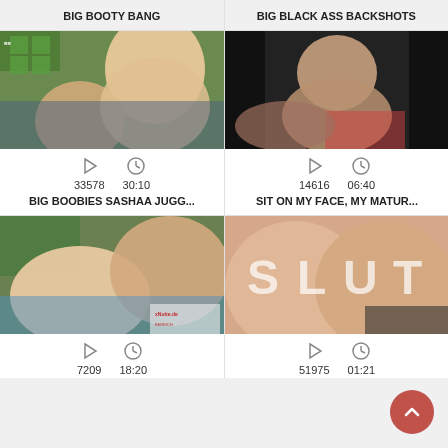BIG BOOTY BANG
BIG BLACK ASS BACKSHOTS
[Figure (photo): Video thumbnail showing two people]
[Figure (photo): Video thumbnail showing two people]
33578   30:10
14616   06:40
BIG BOOBIES SASHAA JUGG...
SIT ON MY FACE, MY MATUR...
[Figure (photo): Video thumbnail]
[Figure (photo): Video thumbnail with text written on skin]
7209   18:20
51975   01:21